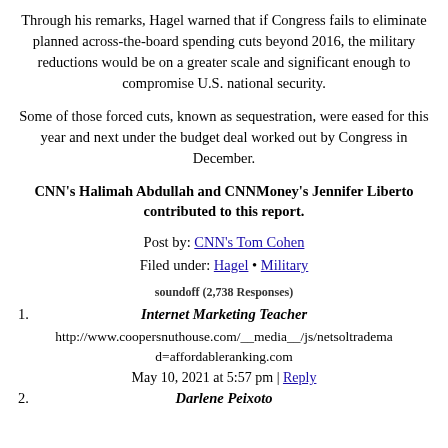Through his remarks, Hagel warned that if Congress fails to eliminate planned across-the-board spending cuts beyond 2016, the military reductions would be on a greater scale and significant enough to compromise U.S. national security.
Some of those forced cuts, known as sequestration, were eased for this year and next under the budget deal worked out by Congress in December.
CNN's Halimah Abdullah and CNNMoney's Jennifer Liberto contributed to this report.
Post by: CNN's Tom Cohen
Filed under: Hagel • Military
soundoff (2,738 Responses)
1. Internet Marketing Teacher
http://www.coopersnuthouse.com/__media__/js/netsoltradema
d=affordableranking.com
May 10, 2021 at 5:57 pm | Reply
2. Darlene Peixoto